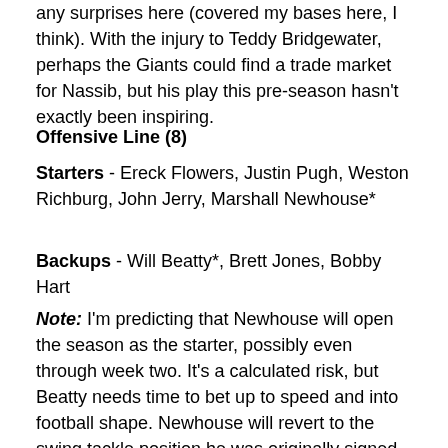any surprises here (covered my bases here, I think). With the injury to Teddy Bridgewater, perhaps the Giants could find a trade market for Nassib, but his play this pre-season hasn't exactly been inspiring.
Offensive Line (8)
Starters - Ereck Flowers, Justin Pugh, Weston Richburg, John Jerry, Marshall Newhouse*
Backups - Will Beatty*, Brett Jones, Bobby Hart
Note: I'm predicting that Newhouse will open the season as the starter, possibly even through week two. It's a calculated risk, but Beatty needs time to bet up to speed and into football shape. Newhouse will revert to the swing tackle position he was originally signed to play soon enough. I'm only keeping eight linemen, but I could certainly see the Giants picking up a veteran G/C